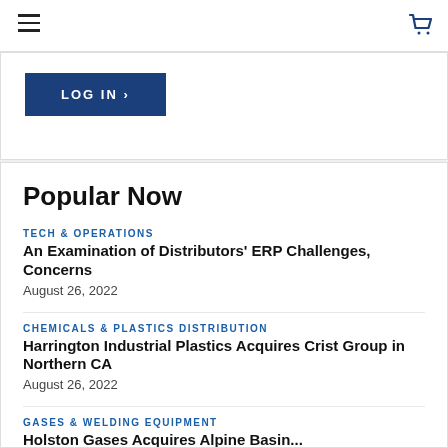≡  🛒
LOG IN ›
Popular Now
TECH & OPERATIONS
An Examination of Distributors' ERP Challenges, Concerns
August 26, 2022
CHEMICALS & PLASTICS DISTRIBUTION
Harrington Industrial Plastics Acquires Crist Group in Northern CA
August 26, 2022
GASES & WELDING EQUIPMENT
Holston Gases Acquires Alpine Basin...